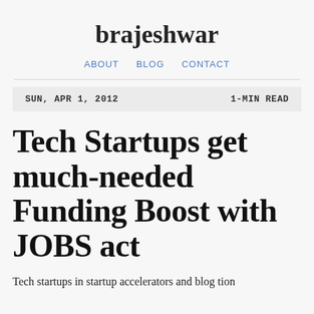brajeshwar
ABOUT   BLOG   CONTACT
SUN, APR 1, 2012   1-MIN READ
Tech Startups get much-needed Funding Boost with JOBS act
Tech startups in startup accelerators and blog posting